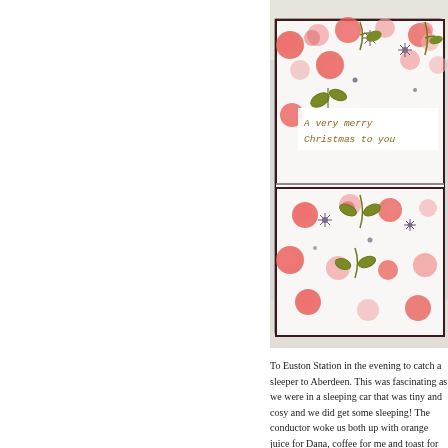[Figure (photo): A close-up photo of a decorative gift box with a floral pattern (pink/coral flowers, olive green leaves, purple/navy daisy-like flowers on white background). Two stacked boxes are tied with black and white twine. The visible top card reads 'A very merry Christmas to you'. The box sits on a crocheted white surface.]
To Euston Station in the evening to catch a sleeper to Aberdeen. This was fascinating as we were in a sleeping car that was tiny and cosy and we did get some sleeping! The conductor woke us both up with orange juice for Dana, coffee for me and toast for both.